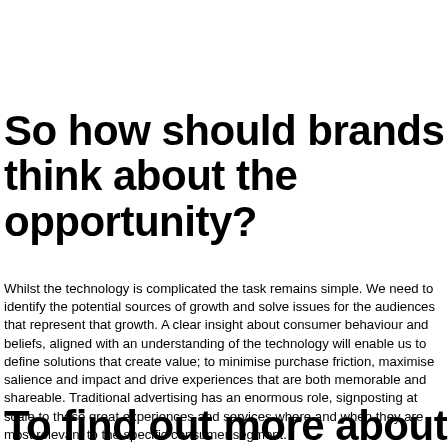So how should brands think about the opportunity?
Whilst the technology is complicated the task remains simple. We need to identify the potential sources of growth and solve issues for the audiences that represent that growth. A clear insight about consumer behaviour and beliefs, aligned with an understanding of the technology will enable us to define solutions that create value; to minimise purchase friction, maximise salience and impact and drive experiences that are both memorable and shareable. Traditional advertising has an enormous role, signposting at scale to these great experiences and services where and when they are most relevant to the specific consumer segment.
All of the required pieces are now available so that we may be able to transform brand and content marketing to the same degree as we have already with the performance element of the marketing mix.
To find out more about the OMD Oasis